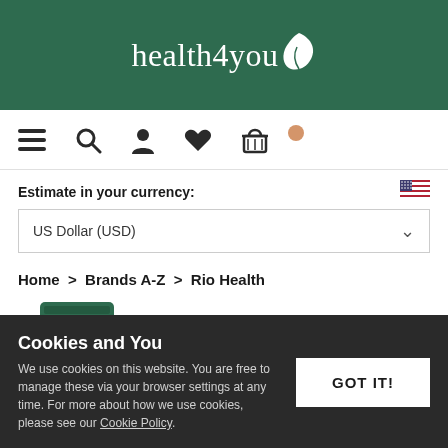[Figure (logo): health4you logo with leaf icon on green background]
[Figure (screenshot): Navigation bar with menu, search, user, heart, basket icons]
Estimate in your currency:
US Dollar (USD)
Home > Brands A-Z > Rio Health
[Figure (photo): Product bottle with green lid, partially visible]
Cookies and You
We use cookies on this website. You are free to manage these via your browser settings at any time. For more about how we use cookies, please see our Cookie Policy.
GOT IT!